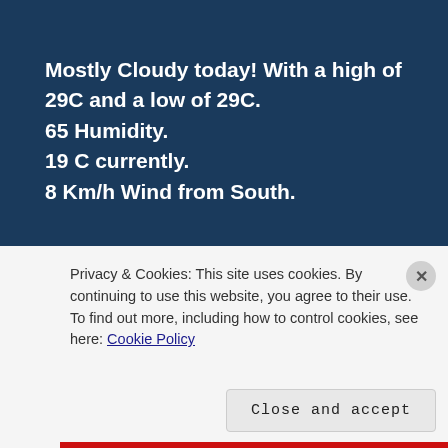Mostly Cloudy today! With a high of 29C and a low of 29C.
65 Humidity.
19 C currently.
8 Km/h Wind from South.
MOSTLY  SUNNY  TODAY!
Privacy & Cookies: This site uses cookies. By continuing to use this website, you agree to their use.
To find out more, including how to control cookies, see here: Cookie Policy
Close and accept